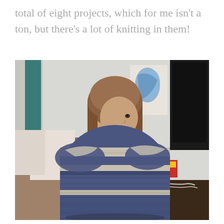total of eight projects, which for me isn't a ton, but there's a lot of knitting in them!
[Figure (photo): A young child with a bob haircut, viewed from behind and slightly turned to look at the camera, wrapped in a knitted blanket or shawl with dark blue/navy and cream striped pattern. Background shows a living room with a sofa, white walls, and a TV.]